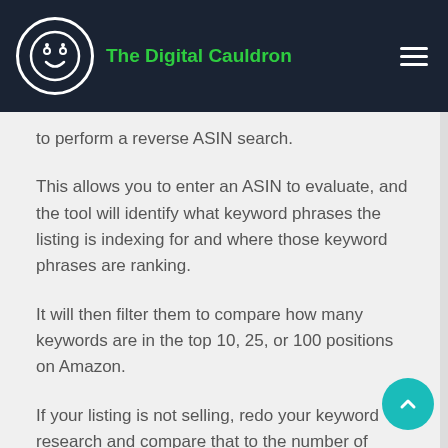The Digital Cauldron
to perform a reverse ASIN search.
This allows you to enter an ASIN to evaluate, and the tool will identify what keyword phrases the listing is indexing for and where those keyword phrases are ranking.
It will then filter them to compare how many keywords are in the top 10, 25, or 100 positions on Amazon.
If your listing is not selling, redo your keyword research and compare that to the number of keyword phrases for which a listing is